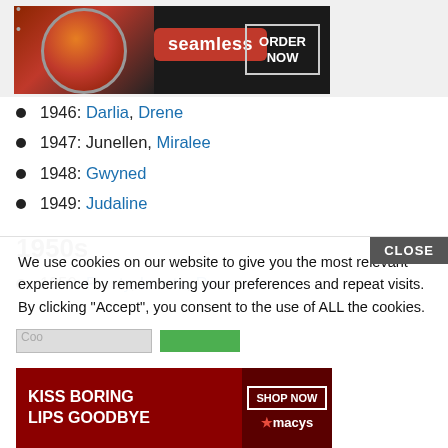[Figure (photo): Seamless food delivery advertisement banner showing pizza with ORDER NOW button]
1946: Darlia, Drene
1947: Junellen, Miralee
1948: Gwyned
1949: Judaline
1950s
1950: Frosty, Learta, Rosezena
We use cookies on our website to give you the most relevant experience by remembering your preferences and repeat visits. By clicking “Accept”, you consent to the use of ALL the cookies.
Do not sell my personal information.
[Figure (photo): Macy’s lipstick advertisement with text KISS BORING LIPS GOODBYE and SHOP NOW button]